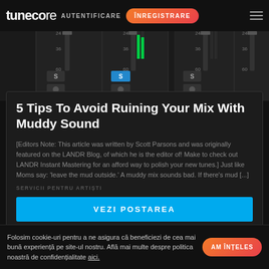TuneCore — AUTENTIFICARE | ÎNREGISTRARE
[Figure (screenshot): DAW mixer interface showing multiple channel strips with S solo buttons, faders, and green/dark level meters on a dark background]
5 Tips To Avoid Ruining Your Mix With Muddy Sound
[Editors Note: This article was written by Scott Parsons and was originally featured on the LANDR Blog, of which he is the editor of! Make to check out LANDR Instant Mastering for an afford way to polish your new tunes.] Just like Moms say: 'leave the mud outside.' A muddy mix sounds bad. If there's mud [...]
SERVICII PENTRU ARTIȘTI
VEZI POSTAREA
Folosim cookie-uri pentru a ne asigura că beneficiezi de cea mai bună experiență pe site-ul nostru. Află mai multe despre politica noastră de confidențialitate aici.
AM ÎNȚELES